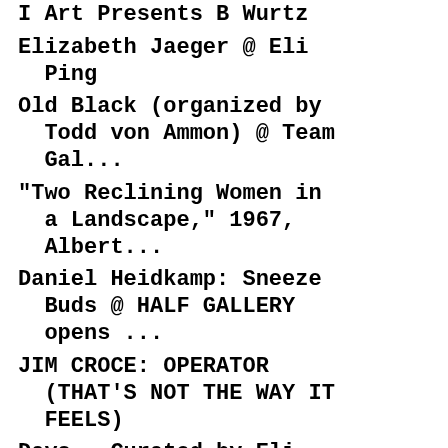I Art Presents B Wurtz
Elizabeth Jaeger @ Eli Ping
Old Black (organized by Todd von Ammon) @ Team Gal...
"Two Reclining Women in a Landscape," 1967, Albert...
Daniel Heidkamp: Sneeze Buds @ HALF GALLERY opens ...
JIM CROCE: OPERATOR (THAT'S NOT THE WAY IT FEELS)
Days - Curated by Eli Ping @ Brennan & Griffin ope...
Mira Dancy @ KANSAS